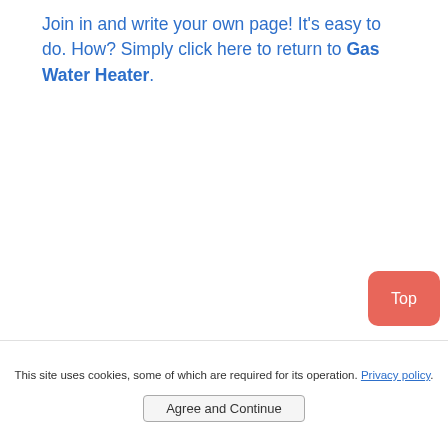Join in and write your own page! It's easy to do. How? Simply click here to return to Gas Water Heater.
[Figure (other): Red rounded button labeled 'Top' in bottom-right area]
This site uses cookies, some of which are required for its operation. Privacy policy.